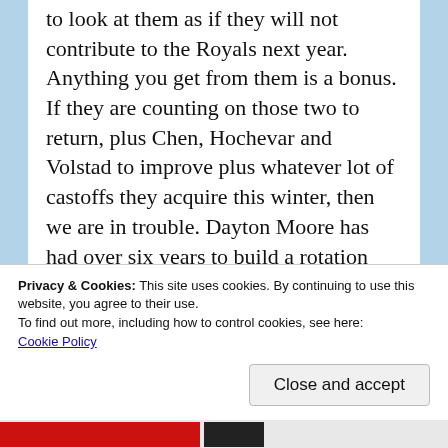to look at them as if they will not contribute to the Royals next year. Anything you get from them is a bonus. If they are counting on those two to return, plus Chen, Hochevar and Volstad to improve plus whatever lot of castoffs they acquire this winter, then we are in trouble. Dayton Moore has had over six years to build a rotation that is acceptable at the least. Instead, the Royals rotation looks like the island of misfit toys. At this point,  I would take King Moonracer in the Royals rotation.
Advertisements
[Figure (screenshot): Black advertisement video player box with red play button circle and partial text visible]
Privacy & Cookies: This site uses cookies. By continuing to use this website, you agree to their use.
To find out more, including how to control cookies, see here:
Cookie Policy
Close and accept